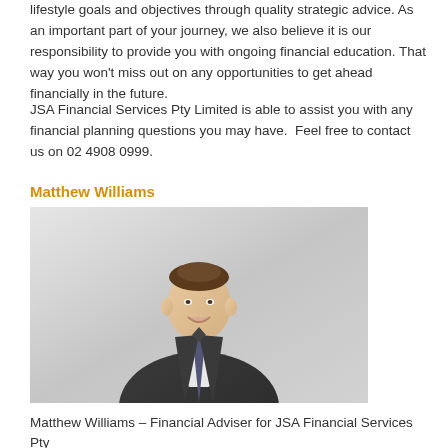lifestyle goals and objectives through quality strategic advice. As an important part of your journey, we also believe it is our responsibility to provide you with ongoing financial education. That way you won't miss out on any opportunities to get ahead financially in the future.
JSA Financial Services Pty Limited is able to assist you with any financial planning questions you may have.  Feel free to contact us on 02 4908 0999.
Matthew Williams
[Figure (photo): Professional headshot of Matthew Williams, a man in a dark suit and tie, standing against a light grey background, smiling.]
Matthew Williams – Financial Adviser for JSA Financial Services Pty